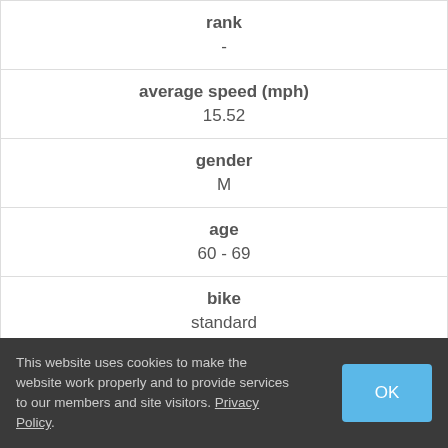| rank | average speed (mph) | gender | age | bike | events (type, miles, time, speed mph) |
| --- | --- | --- | --- | --- | --- |
| - |
| 15.52 |
| M |
| 60 - 69 |
| standard |
| National 24hr Challenge 2017 (24 Hour Race; 307.9; 19:... |
This website uses cookies to make the website work properly and to provide services to our members and site visitors. Privacy Policy.